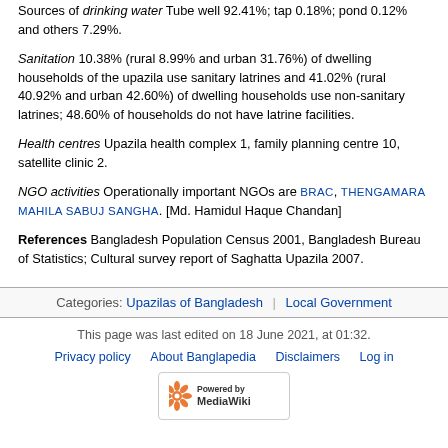Sources of drinking water Tube well 92.41%; tap 0.18%; pond 0.12% and others 7.29%.
Sanitation 10.38% (rural 8.99% and urban 31.76%) of dwelling households of the upazila use sanitary latrines and 41.02% (rural 40.92% and urban 42.60%) of dwelling households use non-sanitary latrines; 48.60% of households do not have latrine facilities.
Health centres Upazila health complex 1, family planning centre 10, satellite clinic 2.
NGO activities Operationally important NGOs are BRAC, THENGAMARA MAHILA SABUJ SANGHA. [Md. Hamidul Haque Chandan]
References Bangladesh Population Census 2001, Bangladesh Bureau of Statistics; Cultural survey report of Saghatta Upazila 2007.
Categories: Upazilas of Bangladesh | Local Government
This page was last edited on 18 June 2021, at 01:32. Privacy policy About Banglapedia Disclaimers Log in